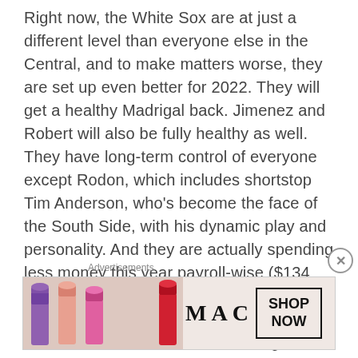Right now, the White Sox are at just a different level than everyone else in the Central, and to make matters worse, they are set up even better for 2022. They will get a healthy Madrigal back. Jimenez and Robert will also be fully healthy as well. They have long-term control of everyone except Rodon, which includes shortstop Tim Anderson, who's become the face of the South Side, with his dynamic play and personality. And they are actually spending less money this year payroll-wise ($134 million) in comparison to last year ($136 million on a pro-rated end). Furthermore, Central baseball fans shouldn't forget about Jose Abreu and Yoan Moncada, who have carried this Sox lineup as of late, especially in the absence of Jimenez, Robert, and Madrigal.
Advertisements
[Figure (other): MAC Cosmetics advertisement showing lipsticks in purple, peach, and pink shades with MAC logo and SHOP NOW button]